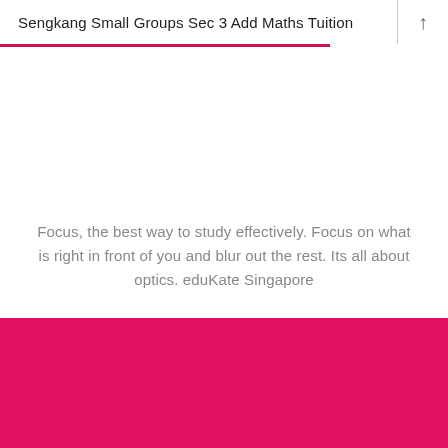Sengkang Small Groups Sec 3 Add Maths Tuition
Focus, the best way to study effectively. Focus on what is right in front of you and blur out the rest. Its all about optics. eduKate Singapore
[Figure (other): Solid crimson/hot-pink color block at bottom of page]